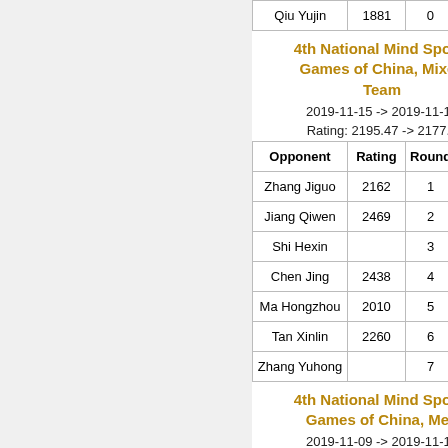| Opponent | Rating | Round | Result |
| --- | --- | --- | --- |
| Qiu Yujin | 1881 | 0 | ... |
4th National Mind Sports Games of China, Mixed Team
2019-11-15 -> 2019-11-18
Rating: 2195.47 -> 2177.3
| Opponent | Rating | Round | Result |
| --- | --- | --- | --- |
| Zhang Jiguo | 2162 | 1 | draw |
| Jiang Qiwen | 2469 | 2 | loss |
| Shi Hexin |  | 3 | win |
| Chen Jing | 2438 | 4 | loss |
| Ma Hongzhou | 2010 | 5 | win |
| Tan Xinlin | 2260 | 6 | loss |
| Zhang Yuhong |  | 7 | win |
4th National Mind Sports Games of China, Men
2019-11-09 -> 2019-11-13
Rating: 2195.58 -> 2195.47
| Opponent | Rating | Round | Result |
| --- | --- | --- | --- |